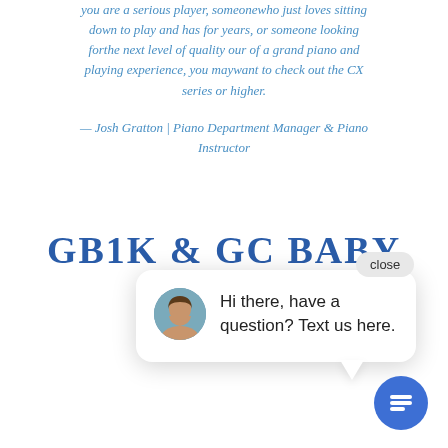you are a serious player, someonewho just loves sitting down to play and has for years, or someone looking forthe next level of quality our of a grand piano and playing experience, you maywant to check out the CX series or higher.
— Josh Gratton | Piano Department Manager & Piano Instructor
GB1K & GC BABY GRAND PIANO
[Figure (screenshot): Chat widget popup with close button, avatar photo of a woman, and message 'Hi there, have a question? Text us here.' along with a blue chat icon button in the bottom right corner.]